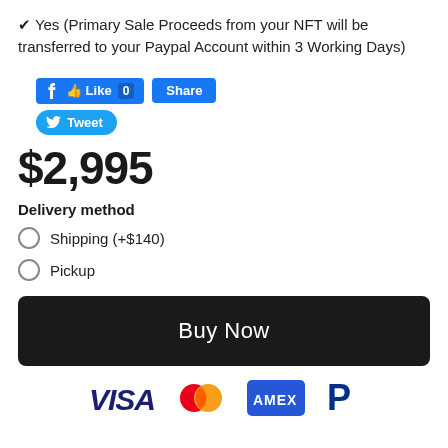✔ Yes (Primary Sale Proceeds from your NFT will be transferred to your Paypal Account within 3 Working Days)
[Figure (screenshot): Social sharing buttons: Facebook Like (0), Facebook Share, and Twitter Tweet buttons]
$2,995
Delivery method
Shipping (+$140)
Pickup
[Figure (screenshot): Buy Now button (dark/black rounded rectangle)]
[Figure (screenshot): Payment method icons: VISA, Mastercard, AMEX, PayPal]